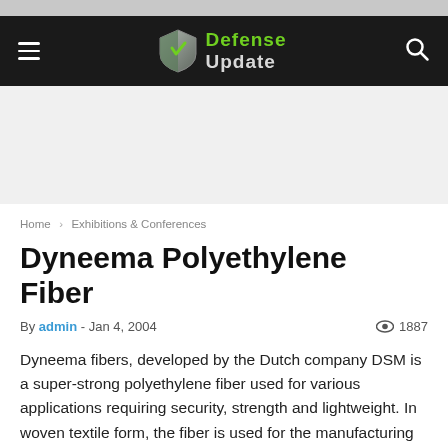Defense Update
[Figure (logo): Defense Update logo with shield icon and green/white text on dark navbar]
Home › Exhibitions & Conferences
Dyneema Polyethylene Fiber
By admin - Jan 4, 2004  👁 1887
Dyneema fibers, developed by the Dutch company DSM is a super-strong polyethylene fiber used for various applications requiring security, strength and lightweight. In woven textile form, the fiber is used for the manufacturing of bulletproof